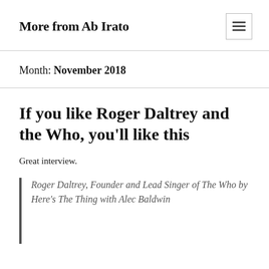More from Ab Irato
Month: November 2018
If you like Roger Daltrey and the Who, you’ll like this
Great interview.
Roger Daltrey, Founder and Lead Singer of The Who by Here’s The Thing with Alec Baldwin